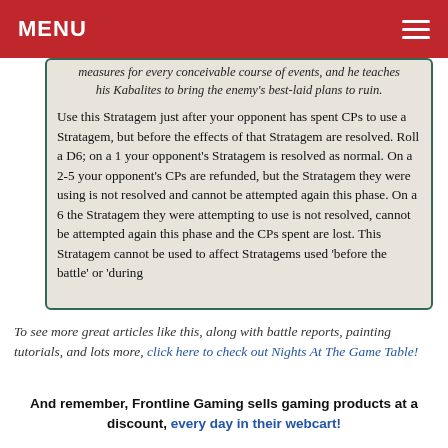MENU
measures for every conceivable course of events, and he teaches his Kabalites to bring the enemy's best-laid plans to ruin.

Use this Stratagem just after your opponent has spent CPs to use a Stratagem, but before the effects of that Stratagem are resolved. Roll a D6; on a 1 your opponent's Stratagem is resolved as normal. On a 2-5 your opponent's CPs are refunded, but the Stratagem they were using is not resolved and cannot be attempted again this phase. On a 6 the Stratagem they were attempting to use is not resolved, cannot be attempted again this phase and the CPs spent are lost. This Stratagem cannot be used to affect Stratagems used 'before the battle' or 'during
To see more great articles like this, along with battle reports, painting tutorials, and lots more, click here to check out Nights At The Game Table!
And remember, Frontline Gaming sells gaming products at a discount, every day in their webcart!